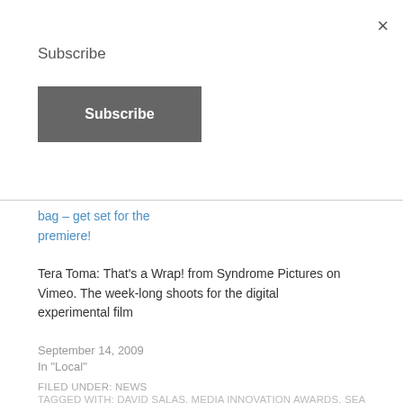×
Subscribe
Subscribe
bag – get set for the premiere!
Tera Toma: That's a Wrap! from Syndrome Pictures on Vimeo. The week-long shoots for the digital experimental film
September 14, 2009
In "Local"
FILED UNDER: NEWS
TAGGED WITH: DAVID SALAS, MEDIA INNOVATION AWARDS, SEA FRONT, SUNDOG MEDIA, SYNDROME PICTURES, TERA TOMA, UNCOMFORTABLE